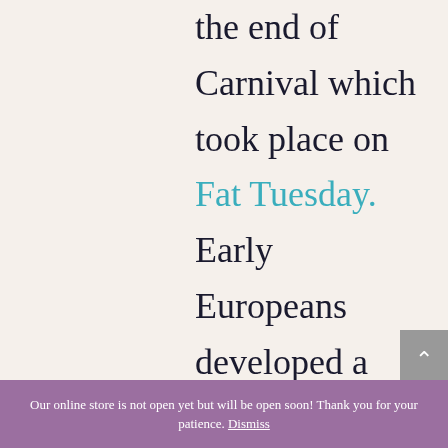the end of Carnival which took place on Fat Tuesday. Early Europeans developed a new creation during this period that used the rich ingredients as well as honored the meaning of Epiphany Day.

The king cake was created to celebrate the coming of the
Our online store is not open yet but will be open soon! Thank you for your patience. Dismiss